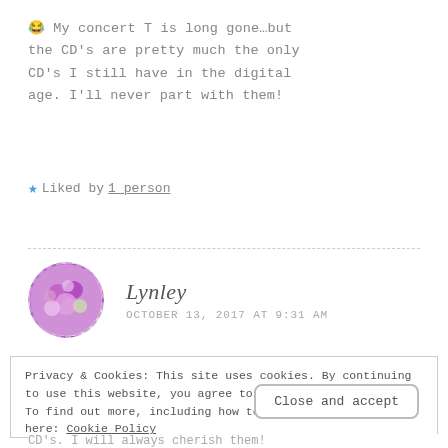😂 My concert T is long gone…but the CD's are pretty much the only CD's I still have in the digital age. I'll never part with them!
★ Liked by 1 person
Lynley
OCTOBER 13, 2017 AT 9:31 AM
Privacy & Cookies: This site uses cookies. By continuing to use this website, you agree to their use. To find out more, including how to control cookies, see here: Cookie Policy
Close and accept
CD's. I will always cherish them!